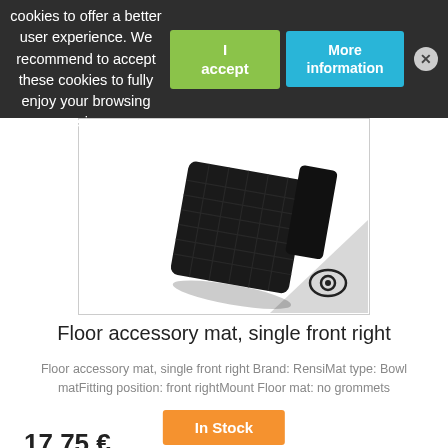Our webstore uses cookies to offer a better user experience. We recommend to accept these cookies to fully enjoy your browsing experience.
[Figure (photo): Black rubber floor accessory mat, single front right, viewed from above at an angle, with textured cross-hatch pattern. A small eye/camera logo appears in the bottom right corner of the product image area.]
Floor accessory mat, single front right
Floor accessory mat, single front right Brand: RensiMat type: Bowl matFitting position: front rightMount Floor mat: no grommets
In Stock
17.75 €